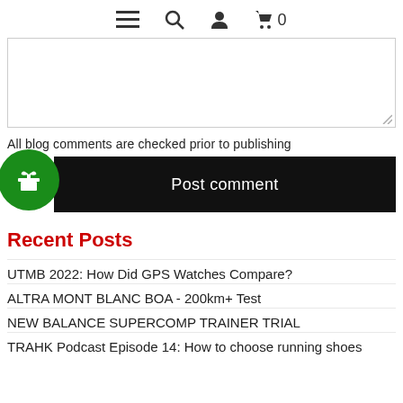≡ 🔍 👤 🛒 0
[Figure (other): Empty comment textarea input box]
All blog comments are checked prior to publishing
Post comment
Recent Posts
UTMB 2022: How Did GPS Watches Compare?
ALTRA MONT BLANC BOA - 200km+ Test
NEW BALANCE SUPERCOMP TRAINER TRIAL
TRAHK Podcast Episode 14: How to choose running shoes